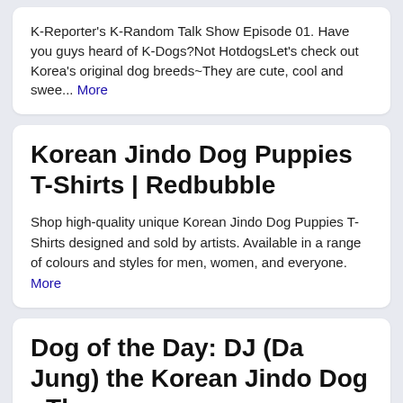K-Reporter's K-Random Talk Show Episode 01. Have you guys heard of K-Dogs?Not HotdogsLet's check out Korea's original dog breeds~They are cute, cool and swee... More
Korean Jindo Dog Puppies T-Shirts | Redbubble
Shop high-quality unique Korean Jindo Dog Puppies T-Shirts designed and sold by artists. Available in a range of colours and styles for men, women, and everyone. More
Dog of the Day: DJ (Da Jung) the Korean Jindo Dog - The